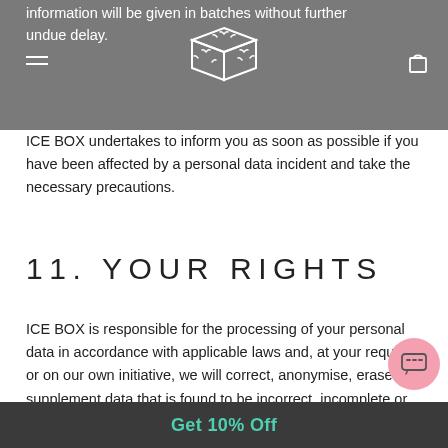information will be given in batches without further undue delay.
[Figure (logo): ICE BOX logo: a dice/cube with antler-like symbols on each face, drawn in outline style]
ICE BOX undertakes to inform you as soon as possible if you have been affected by a personal data incident and take the necessary precautions.
11. YOUR RIGHTS
ICE BOX is responsible for the processing of your personal data in accordance with applicable laws and, at your request or on our own initiative, we will correct, anonymise, erase or supplement data that is found to be incorrect, incomplete or misleading.
Get 10% Off